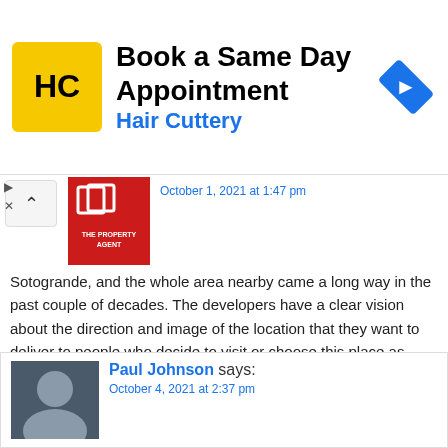[Figure (infographic): Hair Cuttery advertisement banner: yellow square logo with HC initials, bold text 'Book a Same Day Appointment', subtitle 'Hair Cuttery' in blue, blue navigation arrow icon on right]
[Figure (photo): The Property Agent logo - red square with building/house icon]
October 1, 2021 at 1:47 pm
Sotogrande, and the whole area nearby came a long way in the past couple of decades. The developers have a clear vision about the direction and image of the location that they want to deliver to people who decide to visit or choose this place as their home. The quality of the new projects like The Seven, El Mirador, The 15 are amazing and will surely attract high caliber individuals.
The “Beach” at La Reserva is a fun experience for a day, the artificial sandy beach in the green mountain luxury setting is real special.
Paul Johnson says:
October 4, 2021 at 2:37 pm